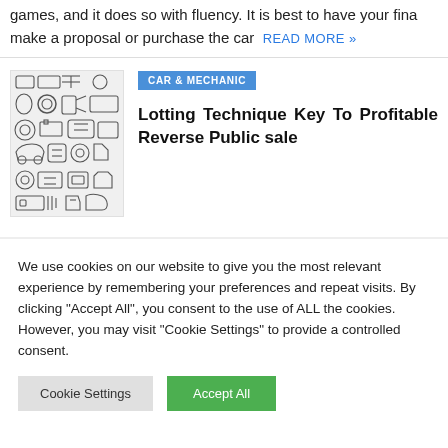games, and it does so with fluency. It is best to have your fina make a proposal or purchase the car  READ MORE »
[Figure (illustration): Grid of car and mechanic related icons including engine parts, wheels, tools, car body, battery, and other automotive components drawn in black and white outline style]
CAR & MECHANIC
Lotting Technique Key To Profitable Reverse Public sale
We use cookies on our website to give you the most relevant experience by remembering your preferences and repeat visits. By clicking "Accept All", you consent to the use of ALL the cookies. However, you may visit "Cookie Settings" to provide a controlled consent.
Cookie Settings  Accept All